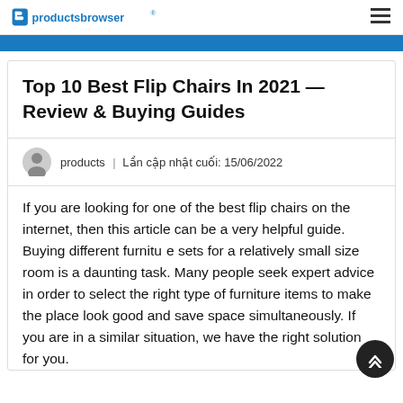productsbrowser
Top 10 Best Flip Chairs In 2021 — Review & Buying Guides
products | Lần cập nhật cuối: 15/06/2022
If you are looking for one of the best flip chairs on the internet, then this article can be a very helpful guide. Buying different furniture sets for a relatively small size room is a daunting task. Many people seek expert advice in order to select the right type of furniture items to make the place look good and save space simultaneously. If you are in a similar situation, we have the right solution for you.